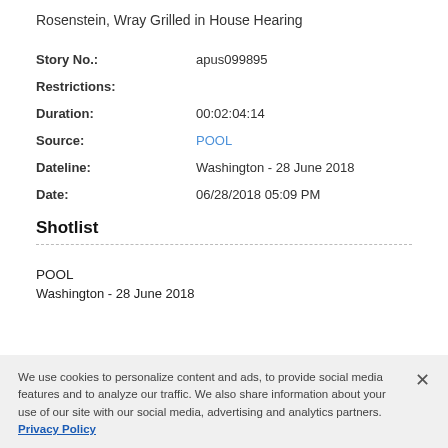Rosenstein, Wray Grilled in House Hearing
| Story No.: | apus099895 |
| Restrictions: |  |
| Duration: | 00:02:04:14 |
| Source: | POOL |
| Dateline: | Washington - 28 June 2018 |
| Date: | 06/28/2018 05:09 PM |
Shotlist
POOL
Washington - 28 June 2018
We use cookies to personalize content and ads, to provide social media features and to analyze our traffic. We also share information about your use of our site with our social media, advertising and analytics partners.  Privacy Policy